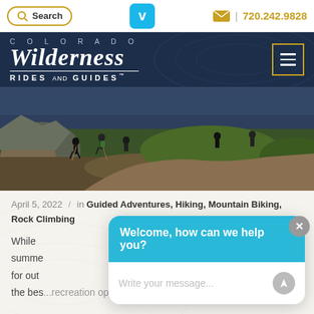Search | V | 720.242.9828
[Figure (logo): Colorado Wilderness Rides and Guides logo on dark navy background with hamburger menu button]
[Figure (photo): Group of hikers with backpacks on a mountain trail with rocky terrain and green meadows]
April 5, 2022 / in Guided Adventures, Hiking, Mountain Biking, Rock Climbing
While [text partially hidden by chat popup] summer for out the bes...recreation opportunities are in the spring when
[Figure (screenshot): Chat popup overlay with header 'Welcome, how can we help you?' and input field 'Write your message...']